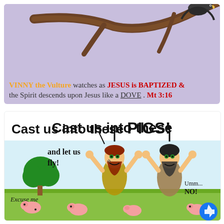[Figure (illustration): Top panel: cartoon illustration of a vulture on a branch against a lavender sky, with text 'VINNY the Vulture watches as JESUS is BAPTIZED & the Spirit descends upon Jesus like a DOVE. Mt 3:16']
[Figure (illustration): Bottom panel: cartoon comic strip titled 'Cast us into these PIGS!' showing two wild men with arms raised, pigs in the foreground, a tree, speech bubbles 'and let us fly!', 'Excuse me', 'Umm... NO!', watermark 'TheBackPew-Larson']